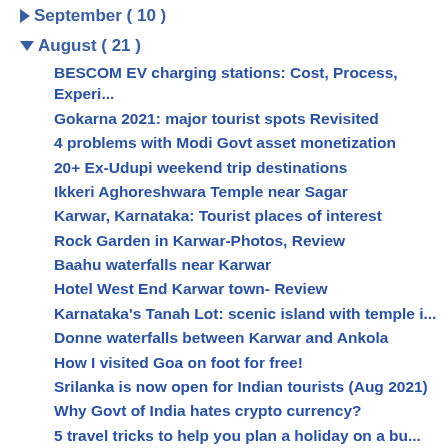► September ( 10 )
▼ August ( 21 )
BESCOM EV charging stations: Cost, Process, Experi...
Gokarna 2021: major tourist spots Revisited
4 problems with Modi Govt asset monetization
20+ Ex-Udupi weekend trip destinations
Ikkeri Aghoreshwara Temple near Sagar
Karwar, Karnataka: Tourist places of interest
Rock Garden in Karwar-Photos, Review
Baahu waterfalls near Karwar
Hotel West End Karwar town- Review
Karnataka's Tanah Lot: scenic island with temple i...
Donne waterfalls between Karwar and Ankola
How I visited Goa on foot for free!
Srilanka is now open for Indian tourists (Aug 2021)
Why Govt of India hates crypto currency?
5 travel tricks to help you plan a holiday on a bu...